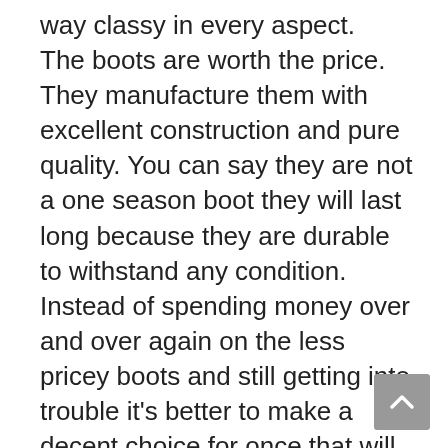way classy in every aspect. The boots are worth the price. They manufacture them with excellent construction and pure quality. You can say they are not a one season boot they will last long because they are durable to withstand any condition. Instead of spending money over and over again on the less pricey boots and still getting into trouble it's better to make a decent choice for once that will withstand for seasons to come.